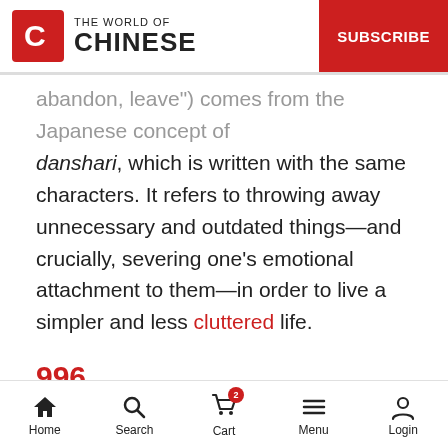THE WORLD OF CHINESE | SUBSCRIBE
abandon, leave") comes from the Japanese concept of danshari, which is written with the same characters. It refers to throwing away unnecessary and outdated things—and crucially, severing one's emotional attachment to them—in order to live a simpler and less cluttered life.
996
The deadly culture of overwork—9 a.m. to 9 p.m., six days
Home  Search  Cart  Menu  Login